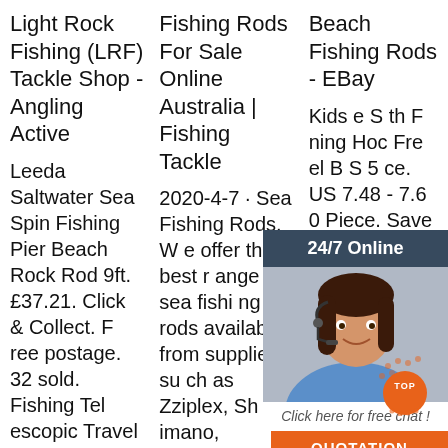Light Rock Fishing (LRF) Tackle Shop - Angling Active
Leeda Saltwater Sea Spin Fishing Pier Beach Rock Rod 9ft. £37.21. Click & Collect. F ree postage. 32 sold. Fishing Tel escopic Travel R ods 6ft 8ft 10ft or 12ft Beach Cast er . Sea Fishing.
Fishing Rods For Sale Online Australia | Fishing Tackle
2020-4-7 · Sea Fishing Rods. W e offer the best r ange of sea fishi ng rods available from suppliers su ch as Zziplex, Sh imano, Conoflex and Jarvis Walke r - infact we stoc
Beach Fishing Rods - EBay
Kids e S th F ning Hoc Fre el B S 5 ce. US 7.48 - 7.6 0 Piece. Save 2 With Coupon 59 Save 4. Cheaper on APP. Free shi
[Figure (other): Customer service chat widget with a woman wearing a headset, '24/7 Online' header, 'Click here for free chat!' text, and orange QUOTATION button]
[Figure (other): Orange decorative TOP badge with dots at bottom right of page]